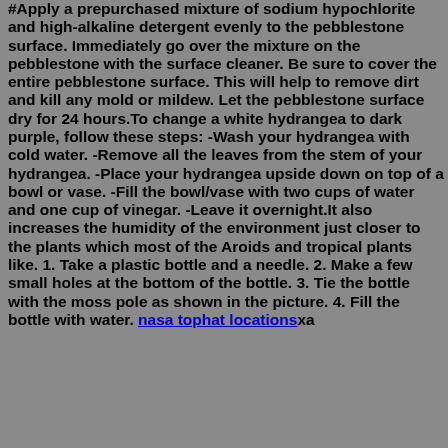#Apply a prepurchased mixture of sodium hypochlorite and high-alkaline detergent evenly to the pebblestone surface. Immediately go over the mixture on the pebblestone with the surface cleaner. Be sure to cover the entire pebblestone surface. This will help to remove dirt and kill any mold or mildew. Let the pebblestone surface dry for 24 hours.To change a white hydrangea to dark purple, follow these steps: -Wash your hydrangea with cold water. -Remove all the leaves from the stem of your hydrangea. -Place your hydrangea upside down on top of a bowl or vase. -Fill the bowl/vase with two cups of water and one cup of vinegar. -Leave it overnight.It also increases the humidity of the environment just closer to the plants which most of the Aroids and tropical plants like. 1. Take a plastic bottle and a needle. 2. Make a few small holes at the bottom of the bottle. 3. Tie the bottle with the moss pole as shown in the picture. 4. Fill the bottle with water. nasa tophat locationsxa